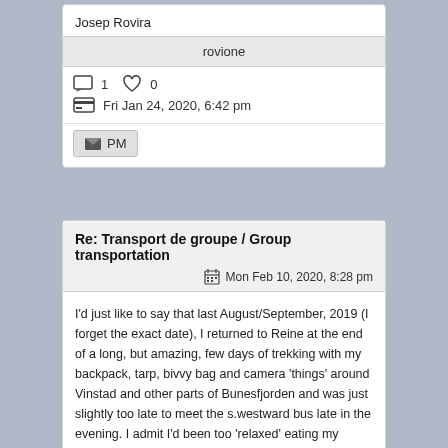Josep Rovira
rovione
1  0
Fri Jan 24, 2020, 6:42 pm
PM
Re: Transport de groupe / Group transportation
Mon Feb 10, 2020, 8:28 pm
I'd just like to say that last August/September, 2019 (I forget the exact date), I returned to Reine at the end of a long, but amazing, few days of trekking with my backpack, tarp, bivvy bag and camera 'things' around Vinstad and other parts of Bunesfjorden and was just slightly too late to meet the s.westward bus late in the evening. I admit I'd been too 'relaxed' eating my waffle and having a beer at the inn after a few nights outside in rainy weather. I missed it so narrowly